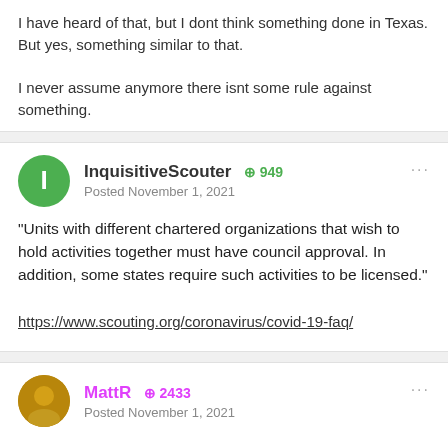I have heard of that, but I dont think something done in Texas. But yes, something similar to that.

I never assume anymore there isnt some rule against something.
InquisitiveScouter +949 Posted November 1, 2021
"Units with different chartered organizations that wish to hold activities together must have council approval. In addition, some states require such activities to be licensed."

https://www.scouting.org/coronavirus/covid-19-faq/
MattR +2433 Posted November 1, 2021